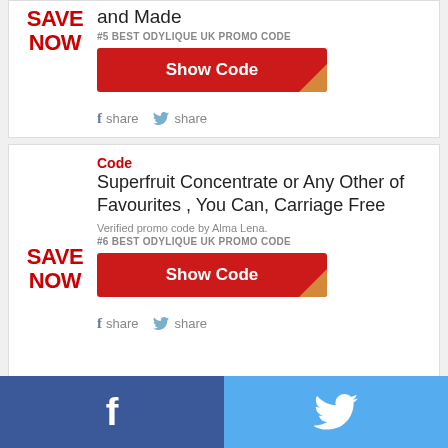SAVE NOW
and Made
#5 BEST ODYLIQUE UK PROMO CODE
[Figure (other): Show Code button with orange corner detail]
f share  share
Code
Superfruit Concentrate or Any Other of Favourites , You Can, Carriage Free
Verified promo code by Alma Lena.
#6 BEST ODYLIQUE UK PROMO CODE
[Figure (other): Show Code button with orange corner detail]
f share  share
[Figure (other): Facebook and Twitter share bar at bottom of page]